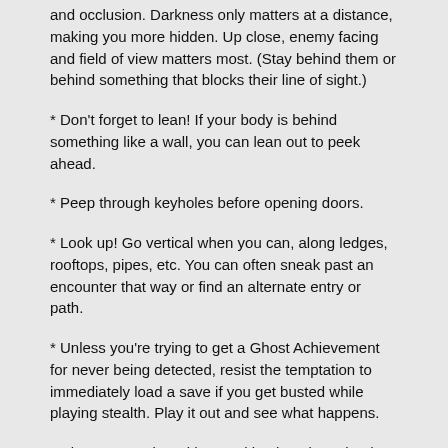and occlusion. Darkness only matters at a distance, making you more hidden. Up close, enemy facing and field of view matters most. (Stay behind them or behind something that blocks their line of sight.)
* Don't forget to lean! If your body is behind something like a wall, you can lean out to peek ahead.
* Peep through keyholes before opening doors.
* Look up! Go vertical when you can, along ledges, rooftops, pipes, etc. You can often sneak past an encounter that way or find an alternate entry or path.
* Unless you're trying to get a Ghost Achievement for never being detected, resist the temptation to immediately load a save if you get busted while playing stealth. Play it out and see what happens.
* Distract enemies with sound by throwing a bottle or setting an alarm clock.